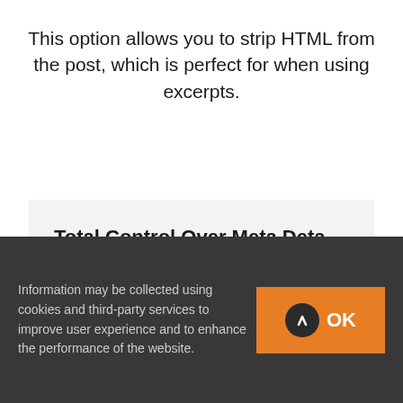This option allows you to strip HTML from the post, which is perfect for when using excerpts.
Total Control Over Meta Deta Display
With each blog shortcode comes a full set of options for meta data. The...
Information may be collected using cookies and third-party services to improve user experience and to enhance the performance of the website. OK